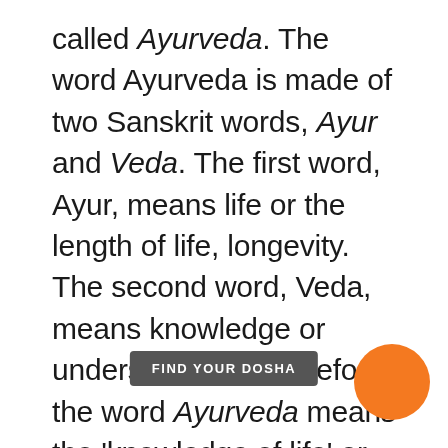called Ayurveda. The word Ayurveda is made of two Sanskrit words, Ayur and Veda. The first word, Ayur, means life or the length of life, longevity. The second word, Veda, means knowledge or understanding. Therefore, the word Ayurveda means the 'knowledge of life' or 'understanding nature'. In ancient times Ayurveda was the primary medical system in much of the world and placed strong emphasis on living a healthy life. Hence, it has been called the
FIND YOUR DOSHA